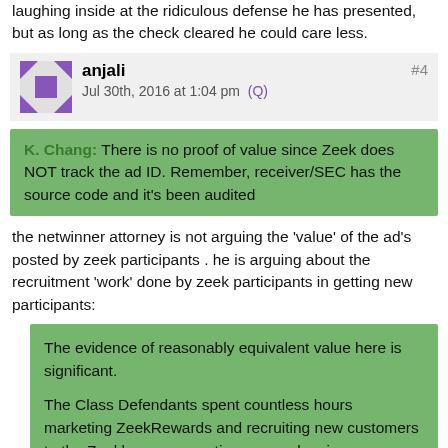laughing inside at the ridiculous defense he has presented, but as long as the check cleared he could care less.
anjali
Jul 30th, 2016 at 1:04 pm (Q)
#4
K. Chang: There is no proof of value since Zeek does NOT track the ad ID. Remember, receiver/SEC has the source code and it's been audited
the netwinner attorney is not arguing the 'value' of the ad's posted by zeek participants . he is arguing about the recruitment 'work' done by zeek participants in getting new participants:
The evidence of reasonably equivalent value here is significant.

The Class Defendants spent countless hours marketing ZeekRewards and recruiting new customers to the Zeekler penny auction—some logging as many as 18 hours per day.